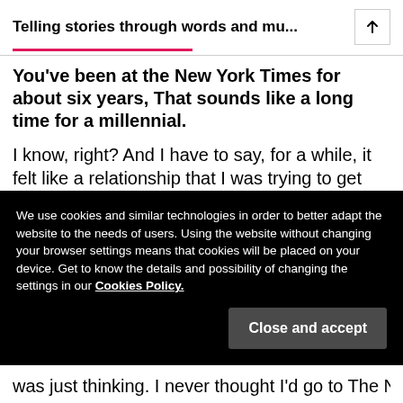Telling stories through words and mu...
You've been at the New York Times for about six years, That sounds like a long time for a millennial.
I know, right? And I have to say, for a while, it felt like a relationship that I was trying to get myself out of. But then another part of me said no. In the beginning, most people who were in my position, kind of sensed that they weren't going to be getting top reporter
We use cookies and similar technologies in order to better adapt the website to the needs of users. Using the website without changing your browser settings means that cookies will be placed on your device. Get to know the details and possibility of changing the settings in our Cookies Policy.
was just thinking. I never thought I'd go to The New